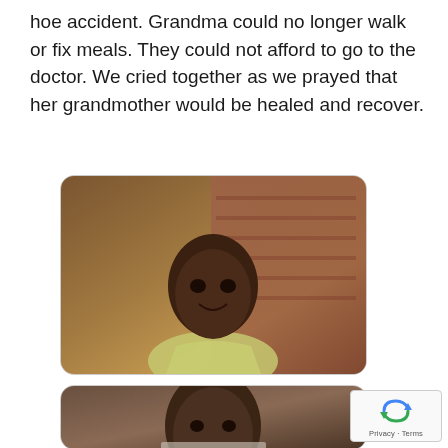hoe accident. Grandma could no longer walk or fix meals. They could not afford to go to the doctor. We cried together as we prayed that her grandmother would be healed and recover.
[Figure (photo): Photo of a young African child smiling, wearing a light green/yellow sleeveless top, with a brick wall background]
[Figure (photo): Photo of a young African child with a serious expression, wearing a light-colored shirt]